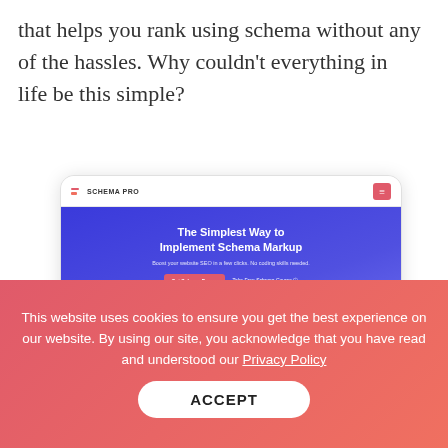that helps you rank using schema without any of the hassles. Why couldn't everything in life be this simple?
[Figure (screenshot): Screenshot of Schema Pro website homepage showing 'The Simplest Way to Implement Schema Markup' hero section with a Google search result preview, overlaid by a cookie consent banner.]
This website uses cookies to ensure you get the best experience on our website. By using our site, you acknowledge that you have read and understood our Privacy Policy
ACCEPT